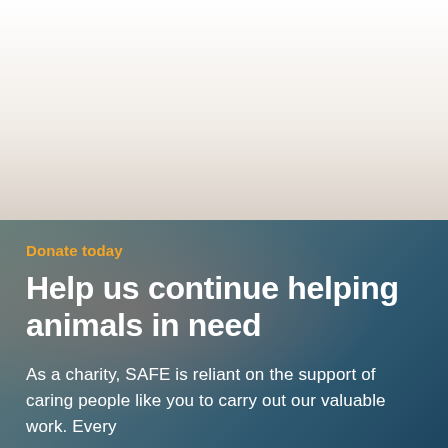[Figure (photo): Close-up photo of an animal (appears to be a cat or small animal), showing soft fur textures, with white and warm tones in the upper portion fading into the background.]
Donate today
Help us continue helping animals in need
As a charity, SAFE is reliant on the support of caring people like you to carry out our valuable work. Every